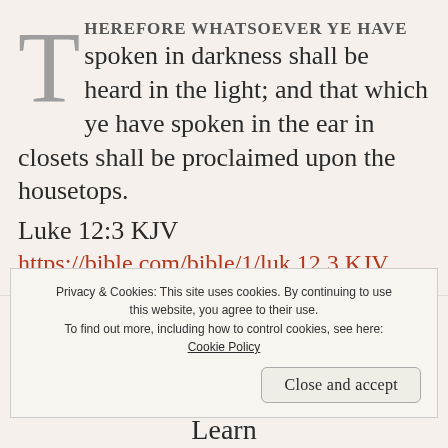THEREFORE WHATSOEVER YE HAVE spoken in darkness shall be heard in the light; and that which ye have spoken in the ear in closets shall be proclaimed upon the housetops.
Luke 12:3 KJV
https://bible.com/bible/1/luk.12.3.KJV
Privacy & Cookies: This site uses cookies. By continuing to use this website, you agree to their use. To find out more, including how to control cookies, see here: Cookie Policy
Close and accept
Learn